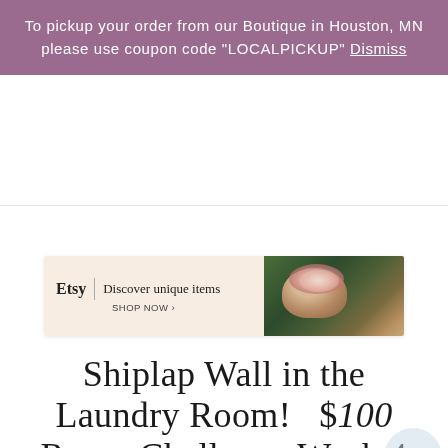To pickup your order from our Boutique in Houston, MN please use coupon code "LOCALPICKUP" Dismiss
[Figure (screenshot): Etsy advertisement banner: peach/cream left side with Etsy logo, 'Discover unique items SHOP NOW >' text, and right side showing a photo of a person holding a floral bouquet against a dark green background.]
Shiplap Wall in the Laundry Room! $100 Room Challenge Week 4